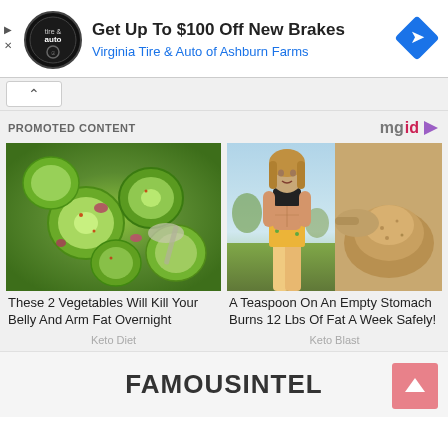[Figure (screenshot): Ad banner: Virginia Tire & Auto logo, 'Get Up To $100 Off New Brakes', 'Virginia Tire & Auto of Ashburn Farms', blue diamond navigation icon]
PROMOTED CONTENT
[Figure (logo): mgid logo with play button]
[Figure (photo): Sliced cucumbers with red onion and seasoning in a bowl with a spoon]
These 2 Vegetables Will Kill Your Belly And Arm Fat Overnight
Keto Diet
[Figure (photo): Fit woman with toned abs wearing black sports bra and patterned shorts outdoors, and a spoon of brown powder]
A Teaspoon On An Empty Stomach Burns 12 Lbs Of Fat A Week Safely!
Keto Blast
FAMOUSINTEL